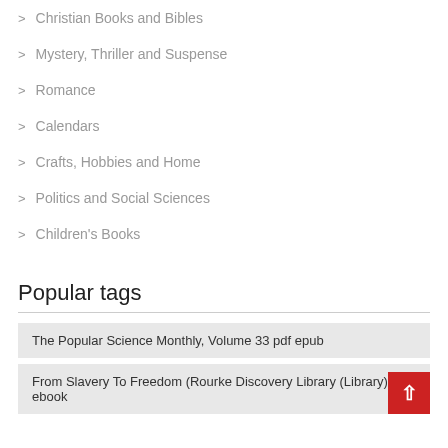Christian Books and Bibles
Mystery, Thriller and Suspense
Romance
Calendars
Crafts, Hobbies and Home
Politics and Social Sciences
Children's Books
Popular tags
The Popular Science Monthly, Volume 33 pdf epub
From Slavery To Freedom (Rourke Discovery Library (Library)) ebook